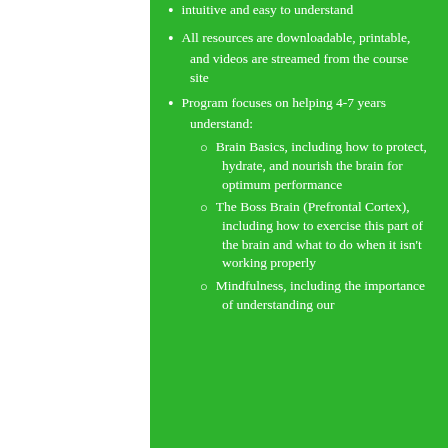intuitive and easy to understand
All resources are downloadable, printable, and videos are streamed from the course site
Program focuses on helping 4-7 years understand:
Brain Basics, including how to protect, hydrate, and nourish the brain for optimum performance
The Boss Brain (Prefrontal Cortex), including how to exercise this part of the brain and what to do when it isn't working properly
Mindfulness, including the importance of understanding our